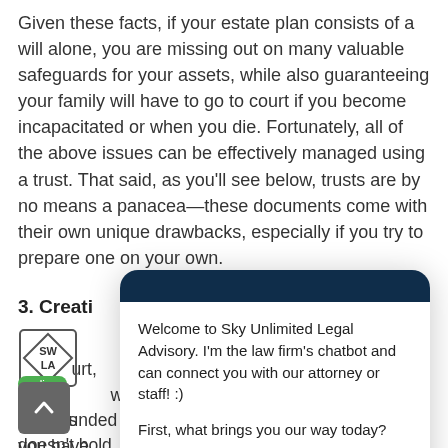Given these facts, if your estate plan consists of a will alone, you are missing out on many valuable safeguards for your assets, while also guaranteeing your family will have to go to court if you become incapacitated or when you die. Fortunately, all of the above issues can be effectively managed using a trust. That said, as you'll see below, trusts are by no means a panacea—these documents come with their own unique drawbacks, especially if you try to prepare one on your own.
3. Creati...
[Figure (screenshot): Chatbot popup for Sky Unlimited Legal Advisory with dark navy header, greeting message, and reply/close buttons]
...pe...urt,...wr...fits-all s...you have...in that case, you are likely to overlook one of the most important parts of creating a trust: "fund"...
An unfunded trust is a trust that exists, but that doesn't hold